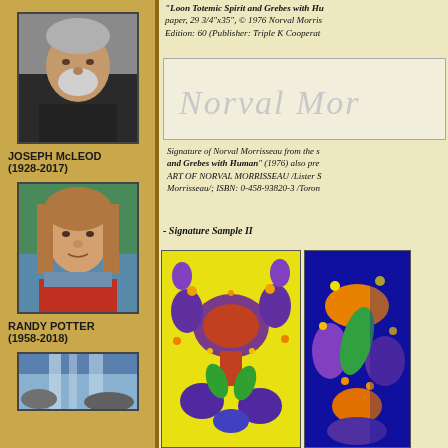[Figure (photo): Portrait photo of elderly man (Joseph McLeod)]
JOSEPH McLEOD
(1928-2017)
[Figure (photo): Portrait photo of middle-aged man with long hair (Randy Potter)]
RANDY POTTER
(1958-2018)
[Figure (photo): Partial portrait photo at bottom of left column]
"Loon Totemic Spirit and Grebes with Hu... paper, 29 3/4"x35", © 1976 Norval Morris... Edition: 60 (Publisher: Triple K Cooperat...
[Figure (photo): Signature of Norval Morrisseau - handwritten cursive signature in light grey on cream background]
Signature of Norval Morrisseau from the s... and Grebes with Human" (1976) also pre... ART OF NORVAL MORRISSEAU /Lister S... Morrisseau/; ISBN: 0-458-93820-3 /Toron...
- Signature Sample II
[Figure (illustration): Colorful indigenous artwork on yellow background with purple, blue, orange birds and figures]
[Figure (illustration): Colorful indigenous artwork on dark blue background with orange, green, purple shapes]